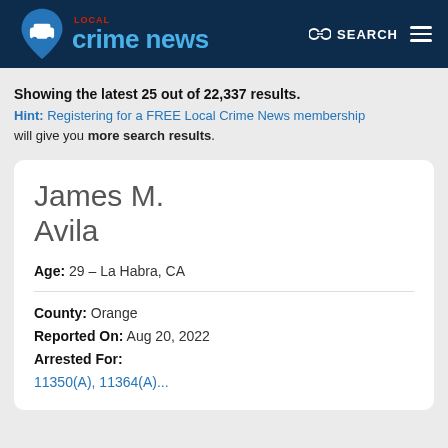Local Crime News — SEARCH
Showing the latest 25 out of 22,337 results.
Hint: Registering for a FREE Local Crime News membership will give you more search results.
James M. Avila
Age: 29 – La Habra, CA
County: Orange
Reported On: Aug 20, 2022
Arrested For:
11350(A), 11364(A)...